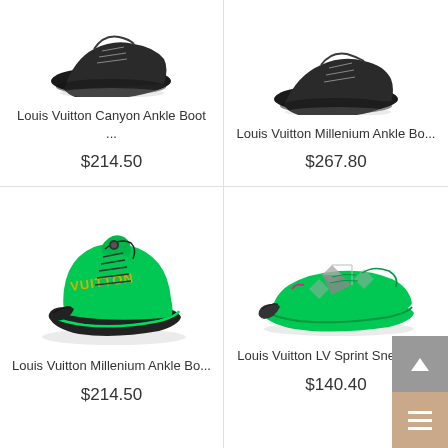[Figure (photo): Louis Vuitton Canyon Ankle Boot - black shoe, top portion visible]
Louis Vuitton Canyon Ankle Boot ...
$214.50
[Figure (photo): Louis Vuitton Millenium Ankle Boot - black shoe, top portion visible]
Louis Vuitton Millenium Ankle Bo...
$267.80
[Figure (photo): Louis Vuitton Millenium Ankle Boot - green and black high-top sneaker with VUITTON lettering]
Louis Vuitton Millenium Ankle Bo...
$214.50
[Figure (photo): Louis Vuitton LV Sprint Sneaker - green and grey running sneaker]
Louis Vuitton LV Sprint Sneaker ...
$140.40